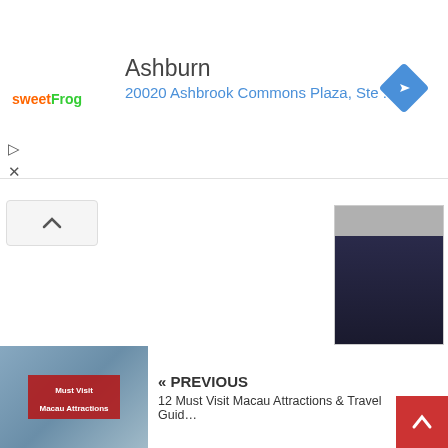[Figure (screenshot): Advertisement banner for sweetFrog frozen yogurt showing Ashburn location at 20020 Ashbrook Commons Plaza with navigation arrow icon]
[Figure (photo): Profile photo of Tommy Ooi in dark clothing]
About Tommy Ooi > 612 Articles
Luxury Hotel Reviewer & Destination Blogger. Passionate for travel, exploring new culture & indulging divine food, Tommy has traveled to 42 countries & 140+ destinations.
[Figure (illustration): Social media icons: globe/website icon and Twitter bird icon]
« PREVIOUS
12 Must Visit Macau Attractions & Travel Guide
[Figure (photo): Thumbnail image for Macau Attractions article showing cityscape with red overlay text Must Visit Macau Attractions]